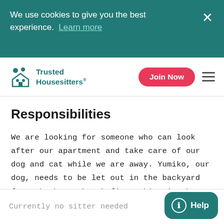We use cookies to give you the best experience. Learn more
Trusted Housesitters® | Join Now
Responsibilities
We are looking for someone who can look after our apartment and take care of our dog and cat while we are away. Yumiko, our dog, needs to be let out in the backyard for a bathroom break first thing in the morning, last thing before going... Read more
Currently no sitter needed